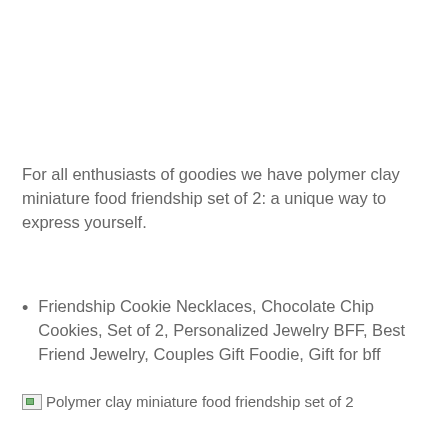For all enthusiasts of goodies we have polymer clay miniature food friendship set of 2: a unique way to express yourself.
Friendship Cookie Necklaces, Chocolate Chip Cookies, Set of 2, Personalized Jewelry BFF, Best Friend Jewelry, Couples Gift Foodie, Gift for bff
[Figure (photo): Broken image placeholder: Polymer clay miniature food friendship set of 2]